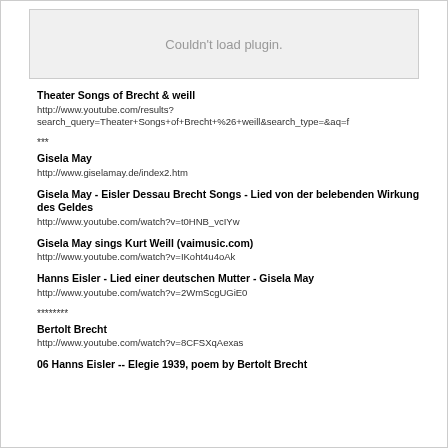[Figure (other): Plugin placeholder box with 'Couldn't load plugin.' message]
Theater Songs of Brecht & weill
http://www.youtube.com/results?search_query=Theater+Songs+of+Brecht+%26+weill&search_type=&aq=f
***
Gisela May
http://www.giselamay.de/index2.htm
Gisela May - Eisler Dessau Brecht Songs - Lied von der belebenden Wirkung des Geldes
http://www.youtube.com/watch?v=t0HNB_vcIYw
Gisela May sings Kurt Weill (vaimusic.com)
http://www.youtube.com/watch?v=IKoht4u4oAk
Hanns Eisler - Lied einer deutschen Mutter - Gisela May
http://www.youtube.com/watch?v=2WmScgUGiE0
********
Bertolt Brecht
http://www.youtube.com/watch?v=8CFSXqAexas
06 Hanns Eisler -- Elegie 1939, poem by Bertolt Brecht